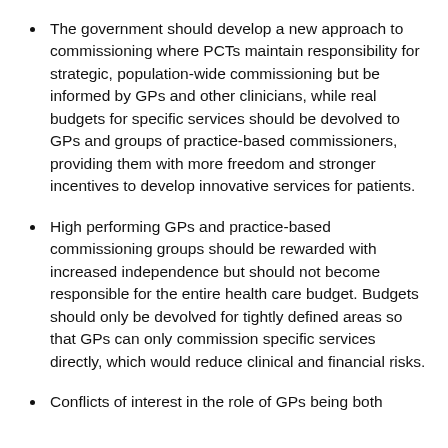The government should develop a new approach to commissioning where PCTs maintain responsibility for strategic, population-wide commissioning but be informed by GPs and other clinicians, while real budgets for specific services should be devolved to GPs and groups of practice-based commissioners, providing them with more freedom and stronger incentives to develop innovative services for patients.
High performing GPs and practice-based commissioning groups should be rewarded with increased independence but should not become responsible for the entire health care budget. Budgets should only be devolved for tightly defined areas so that GPs can only commission specific services directly, which would reduce clinical and financial risks.
Conflicts of interest in the role of GPs being both